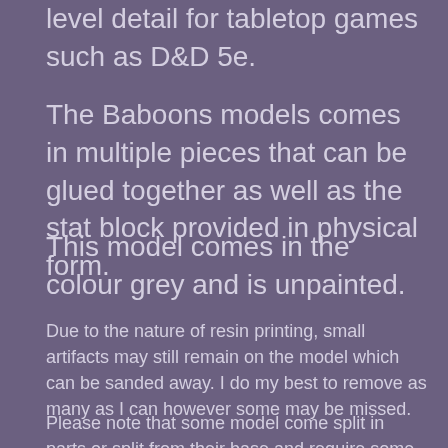level detail for tabletop games such as D&D 5e.
The Baboons models comes in multiple pieces that can be glued together as well as the stat block provided in physical form.
This model comes in the colour grey and is unpainted.
Due to the nature of resin printing, small artifacts may still remain on the model which can be sanded away. I do my best to remove as many as I can however some may be missed.
Please note that some model come split in parts or split from their base and require some sort of adhesive like super glue to attach to the other parts.
Please feel free to contact me if you have any questions. This model design and the digital render is by the creator at The Dragon...